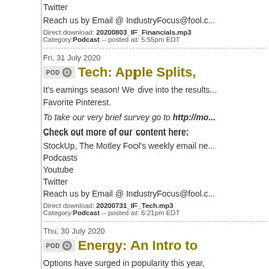Twitter
Reach us by Email @ IndustryFocus@fool.c...
Direct download: 20200803_IF_Financials.mp3
Category:Podcast -- posted at: 5:55pm EDT
Fri, 31 July 2020
Tech: Apple Splits,
It's earnings season! We dive into the results... Favorite Pinterest.
To take our very brief survey go to http://mo...
Check out more of our content here:
StockUp, The Motley Fool's weekly email ne...
Podcasts
Youtube
Twitter
Reach us by Email @ IndustryFocus@fool.c...
Direct download: 20200731_IF_Tech.mp3
Category:Podcast -- posted at: 6:21pm EDT
Thu, 30 July 2020
Energy: An Intro to
Options have surged in popularity this year, options and how can you use them Foolishly...